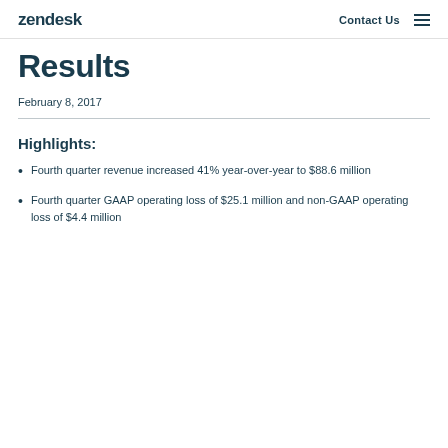zendesk  Contact Us
Results
February 8, 2017
Highlights:
Fourth quarter revenue increased 41% year-over-year to $88.6 million
Fourth quarter GAAP operating loss of $25.1 million and non-GAAP operating loss of $4.4 million